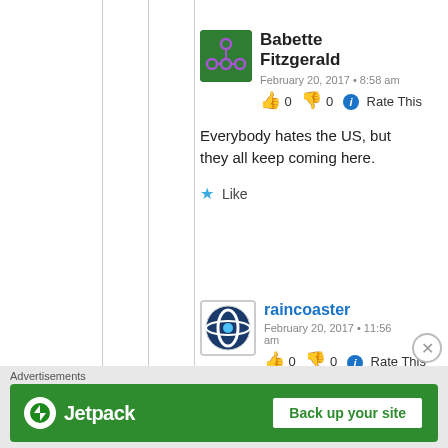Babette Fitzgerald
February 20, 2017 • 8:58 am
👍 0 👎 0 ℹ Rate This
Everybody hates the US, but they all keep coming here.
★ Like
raincoaster
February 20, 2017 • 11:56 am
👍 0 👎 0 ℹ Rate This
Well Bendelladj didn't have any choice, having been arrested
Advertisements
[Figure (other): Jetpack advertisement banner with 'Back up your site' button]